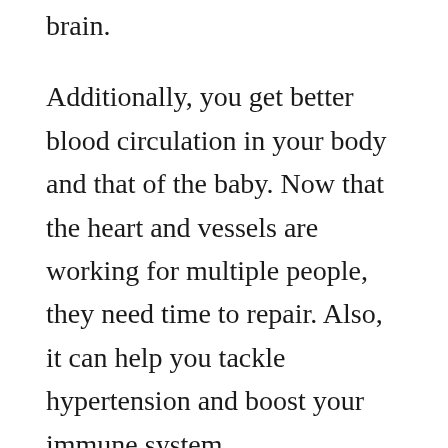brain.
Additionally, you get better blood circulation in your body and that of the baby. Now that the heart and vessels are working for multiple people, they need time to repair. Also, it can help you tackle hypertension and boost your immune system.
When you sleep, your body can respond better to insulin, which helps your immune system. So, no matter how busy your life is, you must make time to get ample sleep while